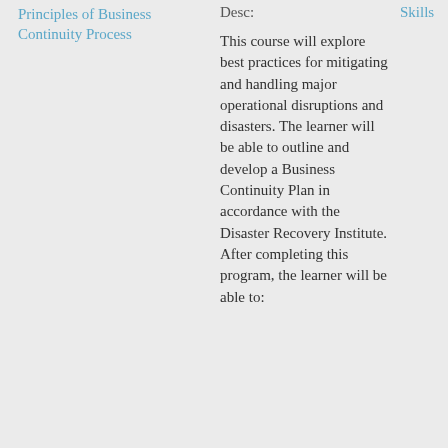Principles of Business Continuity Process
Desc:
Skills
This course will explore best practices for mitigating and handling major operational disruptions and disasters. The learner will be able to outline and develop a Business Continuity Plan in accordance with the Disaster Recovery Institute. After completing this program, the learner will be able to: